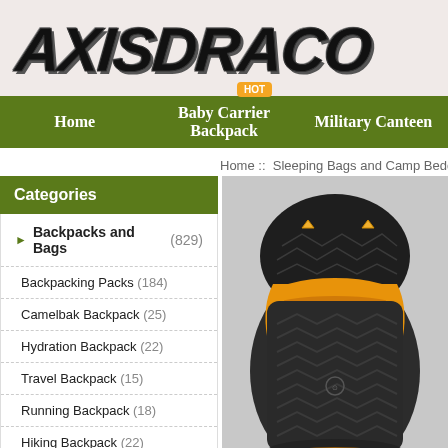AXISDRACO
Home | Baby Carrier Backpack (HOT) | Military Canteen
Home :: Sleeping Bags and Camp Bedding
Categories
Backpacks and Bags (829)
Backpacking Packs (184)
Camelbak Backpack (25)
Hydration Backpack (22)
Travel Backpack (15)
Running Backpack (18)
Hiking Backpack (22)
Bike Backpack (18)
[Figure (photo): A dark charcoal/grey sleeping bag with orange/yellow interior lining, showing quilted chevron pattern, partially unzipped at the top.]